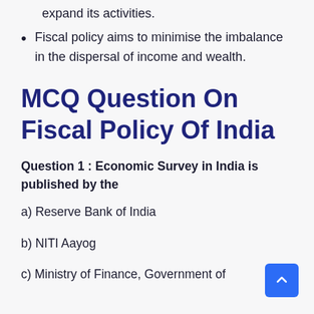expand its activities.
Fiscal policy aims to minimise the imbalance in the dispersal of income and wealth.
MCQ Question On Fiscal Policy Of India
Question 1 : Economic Survey in India is published by the
a) Reserve Bank of India
b) NITI Aayog
c) Ministry of Finance, Government of